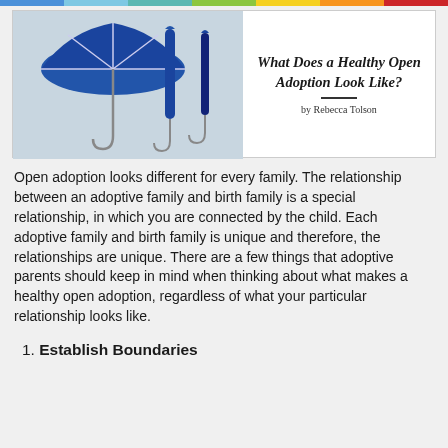[Figure (photo): Two blue umbrellas against a white background — one open and one closed — with a title overlay reading 'What Does a Healthy Open Adoption Look Like?' and byline 'by Rebecca Tolson']
Open adoption looks different for every family. The relationship between an adoptive family and birth family is a special relationship, in which you are connected by the child. Each adoptive family and birth family is unique and therefore, the relationships are unique. There are a few things that adoptive parents should keep in mind when thinking about what makes a healthy open adoption, regardless of what your particular relationship looks like.
1. Establish Boundaries